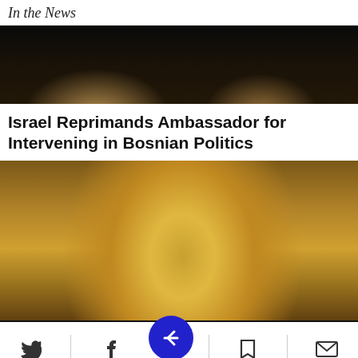In the News
[Figure (photo): Close-up photo of two people, cropped to show lower faces/chins and suits, dark background]
Israel Reprimands Ambassador for Intervening in Bosnian Politics
[Figure (photo): Portrait photo of a woman with curly hair pulled back, looking to the side, warm/golden blurred background]
Get Up To $110 Off a Set of 4 Select Firestone Tires